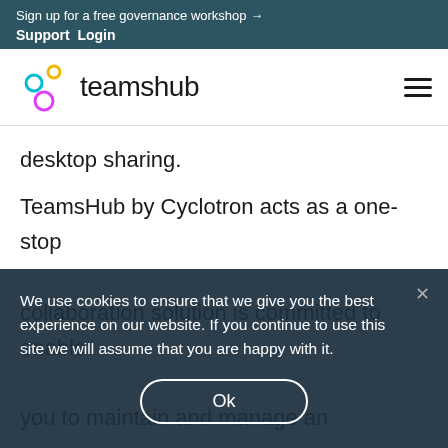Sign up for a free governance workshop →
Support  Login
[Figure (logo): TeamsHub logo with interlocking circles in cyan, yellow, and magenta, and the word 'teamshub' in dark text]
desktop sharing.
TeamsHub by Cyclotron acts as a one-stop collaboration solution is committed to enable you to maintain and manage an awesome user experience by reducing all administrative efforts.
without navigating to multiple interfaces or portals.
We use cookies to ensure that we give you the best experience on our website. If you continue to use this site we will assume that you are happy with it.
Ok